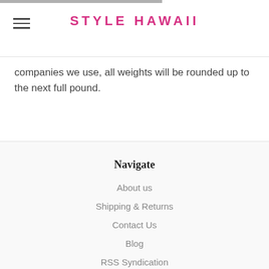STYLE HAWAII
companies we use, all weights will be rounded up to the next full pound.
Navigate
About us
Shipping & Returns
Contact Us
Blog
RSS Syndication
Sitemap